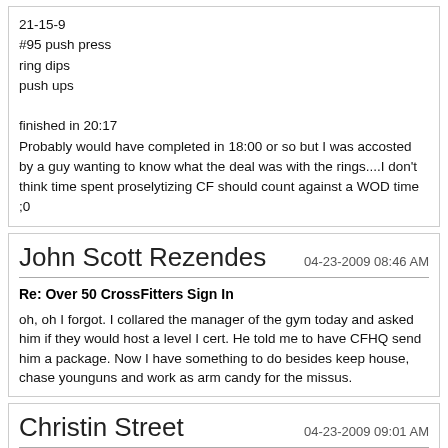21-15-9
#95 push press
ring dips
push ups

finished in 20:17
Probably would have completed in 18:00 or so but I was accosted by a guy wanting to know what the deal was with the rings....I don't think time spent proselytizing CF should count against a WOD time ;0
John Scott Rezendes
04-23-2009 08:46 AM
Re: Over 50 CrossFitters Sign In
oh, oh I forgot. I collared the manager of the gym today and asked him if they would host a level I cert. He told me to have CFHQ send him a package. Now I have something to do besides keep house, chase younguns and work as arm candy for the missus.
Christin Street
04-23-2009 09:01 AM
Re: Over 50 CrossFitters Sign In
In three months I can officially sign in to this thread. Ugh. Actually I'm not sure if I want to, since you all are pretty bad-***, hardcore. Nice work! Keep it up.:highfive: